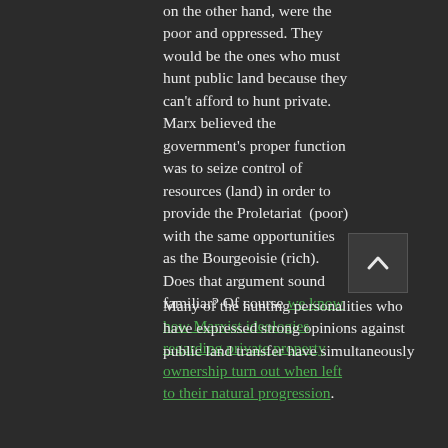on the other hand, were the poor and oppressed. They would be the ones who must hunt public land because they can't afford to hunt private. Marx believed the government's proper function was to seize control of resources (land) in order to provide the Proletariat (poor) with the same opportunities as the Bourgeoisie (rich). Does that argument sound familiar? Of course we know how Marxist ideologies regarding private property ownership turn out when left to their natural progression.
Many of the hunting personalities who have expressed strong opinions against public land transfer have simultaneously